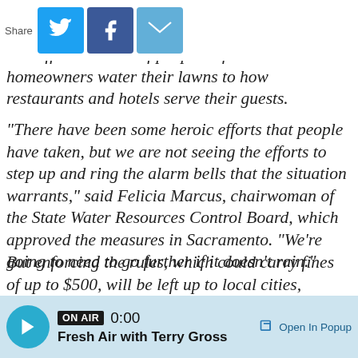punishing drought, the administration of wn on Tuesday imposed new mandatory water conservation rules that will affect millions of people -- from how homeowners water their lawns to how restaurants and hotels serve their guests.
[Figure (screenshot): Social share bar with Twitter, Facebook, and email icons]
"There have been some heroic efforts that people have taken, but we are not seeing the efforts to step up and ring the alarm bells that the situation warrants," said Felicia Marcus, chairwoman of the State Water Resources Control Board, which approved the measures in Sacramento. "We're going to need to go further if it doesn't rain."
But enforcing the rules, which could carry fines of up to $500, will be left up to local cities, counties and water districts. And so
ON AIR 0:00 Fresh Air with Terry Gross   Open In Popup